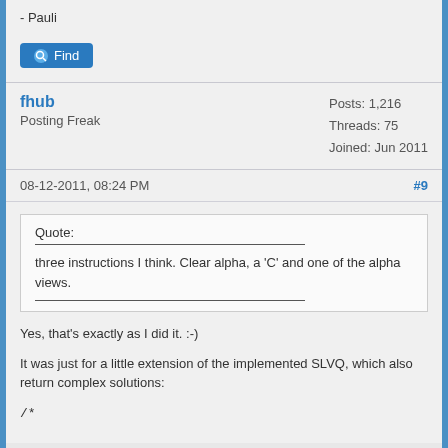- Pauli
[Figure (other): Find button with search icon]
fhub
Posting Freak
Posts: 1,216
Threads: 75
Joined: Jun 2011
08-12-2011, 08:24 PM
#9
Quote:
three instructions I think. Clear alpha, a 'C' and one of the alpha views.
Yes, that's exactly as I did it. :-)
It was just for a little extension of the implemented SLVQ, which also return complex solutions:
/*